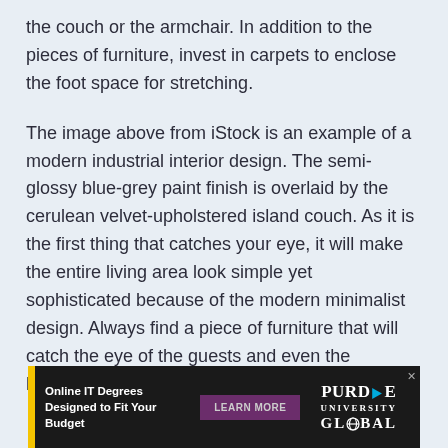the couch or the armchair. In addition to the pieces of furniture, invest in carpets to enclose the foot space for stretching.
The image above from iStock is an example of a modern industrial interior design. The semi-glossy blue-grey paint finish is overlaid by the cerulean velvet-upholstered island couch. As it is the first thing that catches your eye, it will make the entire living area look simple yet sophisticated because of the modern minimalist design. Always find a piece of furniture that will catch the eye of the guests and even the household.
[Figure (other): Advertisement banner for Purdue University Global Online IT Degrees with a yellow accent bar, 'Online IT Degrees Designed to Fit Your Budget' text, a 'LEARN MORE' button, and the Purdue University Global logo.]